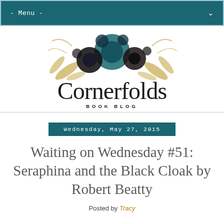- Menu -
[Figure (logo): Cornerfolds Book Blog logo with dark floral arrangement (dark teal and black flowers with gold leaves) above elegant serif text 'Cornerfolds' and subtitle 'BOOK BLOG']
Wednesday, May 27, 2015
Waiting on Wednesday #51: Seraphina and the Black Cloak by Robert Beatty
Posted by Tracy